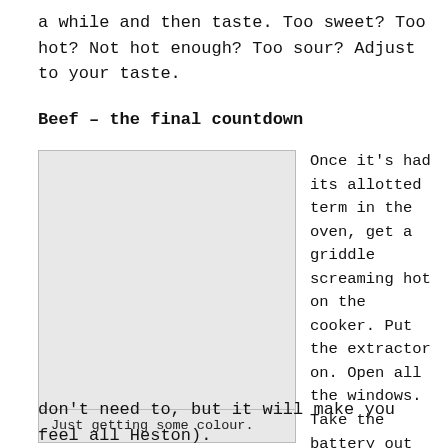a while and then taste. Too sweet? Too hot? Not hot enough? Too sour? Adjust to your taste.
Beef – the final countdown
[Figure (photo): A light grey rectangle representing a photo placeholder showing beef getting some colour.]
Just getting some colour.
Once it's had its allotted term in the oven, get a griddle screaming hot on the cooker. Put the extractor on. Open all the windows. Take the battery out of the smoke alarm. Wear goggles (you don't need to, but it will make you feel all Heston).